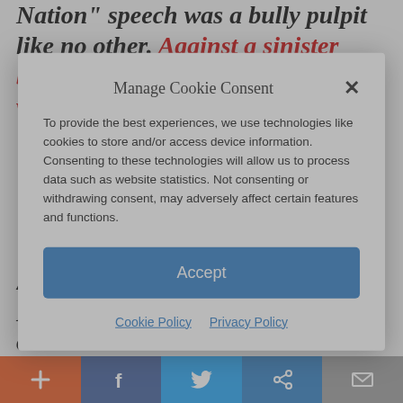Nation” speech was a bully pulpit like no other. Against a sinister backdrop, Biden virtually declares war on
Manage Cookie Consent
To provide the best experiences, we use technologies like cookies to store and/or access device information. Consenting to these technologies will allow us to process data such as website statistics. Not consenting or withdrawing consent, may adversely affect certain features and functions.
Accept
Cookie Policy  Privacy Policy
Accountability — The Joe Biden Way
Don’t like it? Blame somebody else or alter